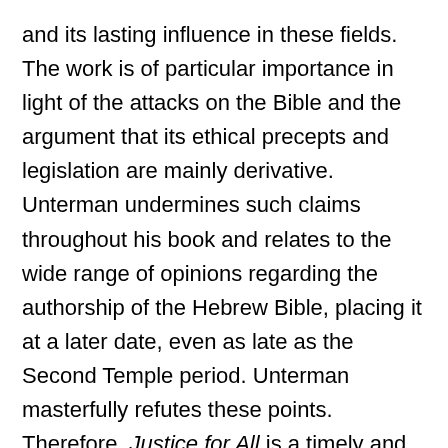and its lasting influence in these fields. The work is of particular importance in light of the attacks on the Bible and the argument that its ethical precepts and legislation are mainly derivative. Unterman undermines such claims throughout his book and relates to the wide range of opinions regarding the authorship of the Hebrew Bible, placing it at a later date, even as late as the Second Temple period. Unterman masterfully refutes these points. Therefore, Justice for All is a timely and important contribution to our knowledge.
In his comprehensive introduction the author acknowledges the existence of ethical principles in ancient Near Eastern law codes which have been deciphered from clay tablets and stelae. That being said, he refutes the claims by many scholars that the Hebrew